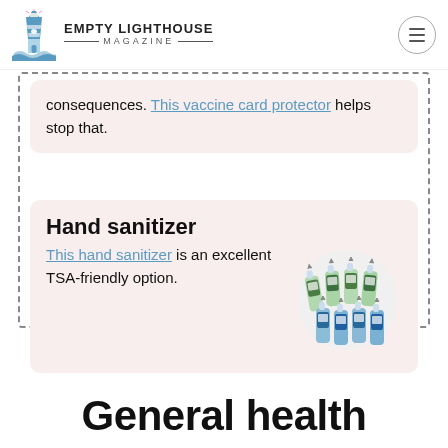EMPTY LIGHTHOUSE MAGAZINE
consequences. This vaccine card protector helps stop that.
Hand sanitizer
This hand sanitizer is an excellent TSA-friendly option.
[Figure (photo): Multiple small hand sanitizer bottles with loop clips, green and blue labels]
General health